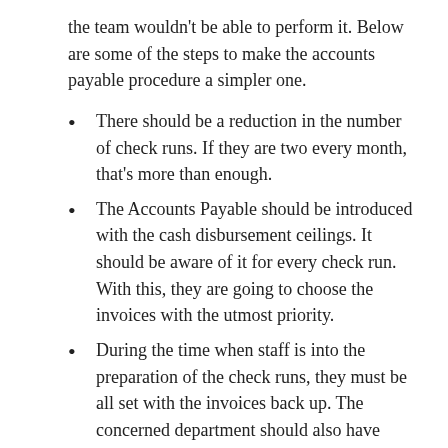the team wouldn't be able to perform it. Below are some of the steps to make the accounts payable procedure a simpler one.
There should be a reduction in the number of check runs. If they are two every month, that's more than enough.
The Accounts Payable should be introduced with the cash disbursement ceilings. It should be aware of it for every check run. With this, they are going to choose the invoices with the utmost priority.
During the time when staff is into the preparation of the check runs, they must be all set with the invoices back up. The concerned department should also have approved the same before it comes to the